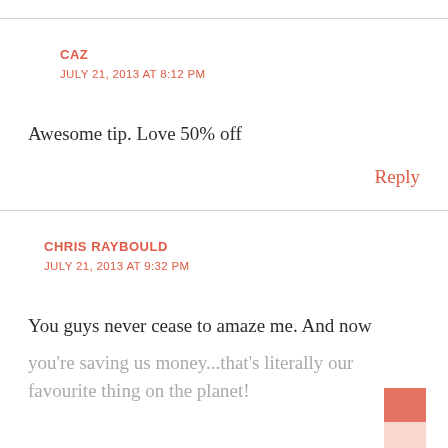CAZ
JULY 21, 2013 AT 8:12 PM
Awesome tip. Love 50% off
Reply
CHRIS RAYBOULD
JULY 21, 2013 AT 9:32 PM
You guys never cease to amaze me. And now you're saving us money...that's literally our favourite thing on the planet!